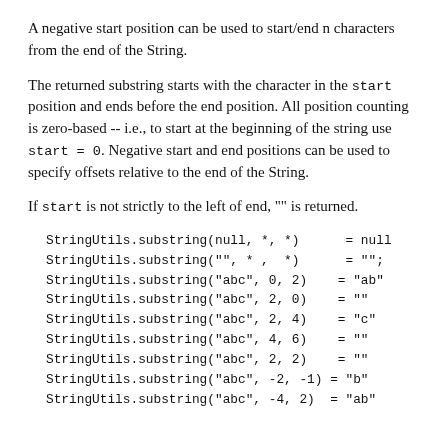A negative start position can be used to start/end n characters from the end of the String.
The returned substring starts with the character in the start position and ends before the end position. All position counting is zero-based -- i.e., to start at the beginning of the string use start = 0. Negative start and end positions can be used to specify offsets relative to the end of the String.
If start is not strictly to the left of end, "" is returned.
StringUtils.substring(null, *, *)      = null
StringUtils.substring("", * ,  *)      = "";
StringUtils.substring("abc", 0, 2)    = "ab"
StringUtils.substring("abc", 2, 0)    = ""
StringUtils.substring("abc", 2, 4)    = "c"
StringUtils.substring("abc", 4, 6)    = ""
StringUtils.substring("abc", 2, 2)    = ""
StringUtils.substring("abc", -2, -1) = "b"
StringUtils.substring("abc", -4, 2)  = "ab"